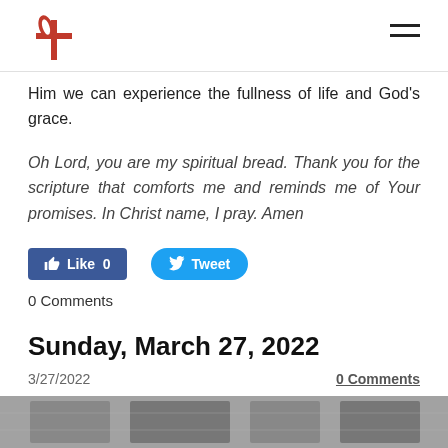[United Methodist Church logo and navigation hamburger menu]
Him we can experience the fullness of life and God's grace.
Oh Lord, you are my spiritual bread. Thank you for the scripture that comforts me and reminds me of Your promises. In Christ name, I pray. Amen
[Figure (other): Facebook Like button showing 0 likes and Twitter Tweet button]
0 Comments
Sunday, March 27, 2022
3/27/2022    0 Comments
[Figure (photo): Partial photo strip at bottom of page showing a black and white photograph]